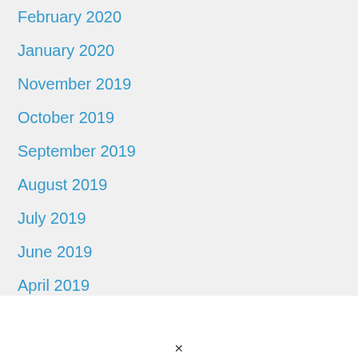February 2020
January 2020
November 2019
October 2019
September 2019
August 2019
July 2019
June 2019
April 2019
March 2019
February 2019
January 2019